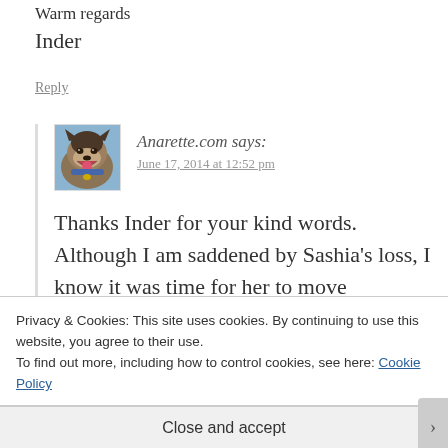Warm regards
Inder
Reply
[Figure (photo): Avatar image of a dog (German Shepherd type) with mouth open, wearing a collar, photographed outdoors]
Anarette.com says:
June 17, 2014 at 12:52 pm
Thanks Inder for your kind words. Although I am saddened by Sashia's loss, I know it was time for her to move
Privacy & Cookies: This site uses cookies. By continuing to use this website, you agree to their use.
To find out more, including how to control cookies, see here: Cookie Policy
Close and accept